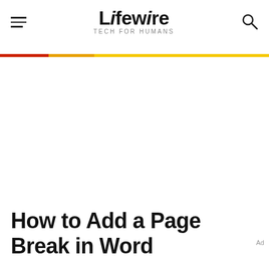Lifewire TECH FOR HUMANS
How to Add a Page Break in Word